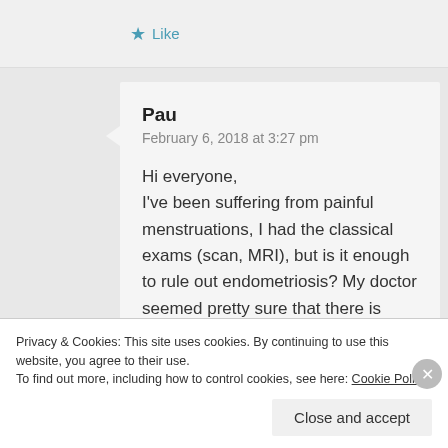Like
Pau
February 6, 2018 at 3:27 pm

Hi everyone,
I've been suffering from painful menstruations, I had the classical exams (scan, MRI), but is it enough to rule out endometriosis? My doctor seemed pretty sure that there is absolutely nothing wrong. He said the MRI would have caught that. Shoud I ask for a laparoscopy? Thanks.
Privacy & Cookies: This site uses cookies. By continuing to use this website, you agree to their use.
To find out more, including how to control cookies, see here: Cookie Policy